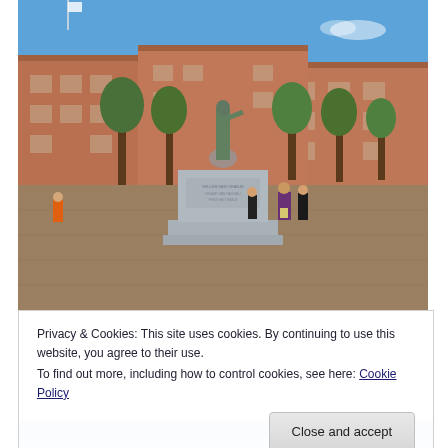[Figure (photo): Outdoor photo of a public square with a large stone statue/monument on a pedestal in the center. Brick buildings in the background, trees on both sides, blue sky. Several people standing near the base of the monument. Cobblestone/brick plaza in the foreground.]
Privacy & Cookies: This site uses cookies. By continuing to use this website, you agree to their use.
To find out more, including how to control cookies, see here: Cookie Policy
Close and accept
[Figure (photo): Partial view of another photo at the bottom of the page, showing a blue sky with possibly clouds or landscape.]